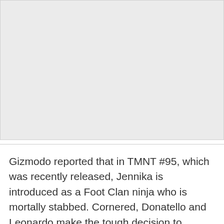[Figure (other): Gray placeholder image region at the top of the page]
Gizmodo reported that in TMNT #95, which was recently released, Jennika is introduced as a Foot Clan ninja who is mortally stabbed. Cornered, Donatello and Leonardo make the tough decision to transfuse Leo’s blood with Jennika’s which effectively healed her fatal stab wounds and also turned her into a new